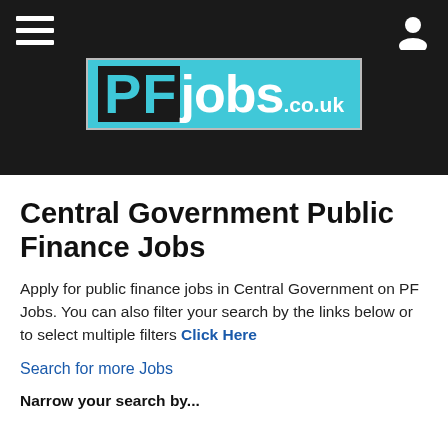PF Jobs .co.uk
Central Government Public Finance Jobs
Apply for public finance jobs in Central Government on PF Jobs. You can also filter your search by the links below or to select multiple filters Click Here
Search for more Jobs
Narrow your search by...